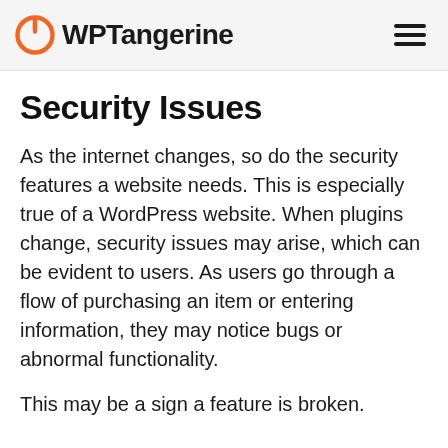WPTangerine
Security Issues
As the internet changes, so do the security features a website needs. This is especially true of a WordPress website. When plugins change, security issues may arise, which can be evident to users. As users go through a flow of purchasing an item or entering information, they may notice bugs or abnormal functionality.
This may be a sign a feature is broken. Often this is due to a plugin or media...